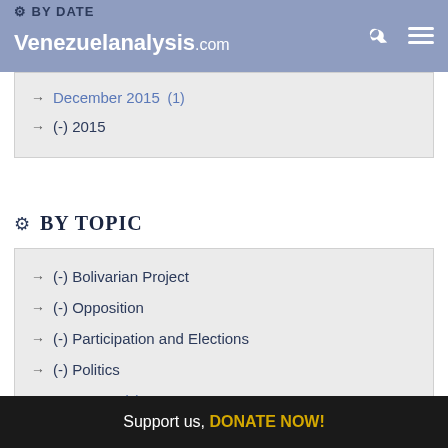BY DATE — Venezuelanalysis.com
→ December 2015 (1)
→ (-) 2015
⚙ BY TOPIC
→ (-) Bolivarian Project
→ (-) Opposition
→ (-) Participation and Elections
→ (-) Politics
→ Economy (1)
Support us, DONATE NOW!